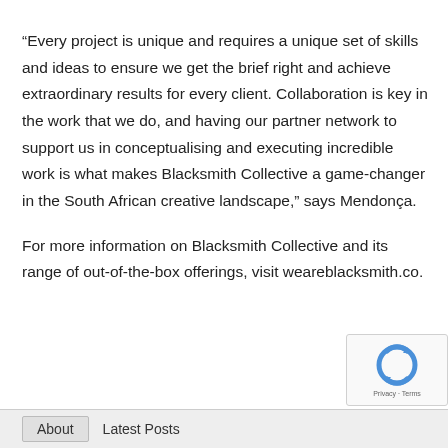“Every project is unique and requires a unique set of skills and ideas to ensure we get the brief right and achieve extraordinary results for every client. Collaboration is key in the work that we do, and having our partner network to support us in conceptualising and executing incredible work is what makes Blacksmith Collective a game-changer in the South African creative landscape,” says Mendonça.
For more information on Blacksmith Collective and its range of out-of-the-box offerings, visit weareblacksmith.co.
[Figure (other): reCAPTCHA widget showing a circular arrow logo and 'Privacy - Terms' text]
About   Latest Posts